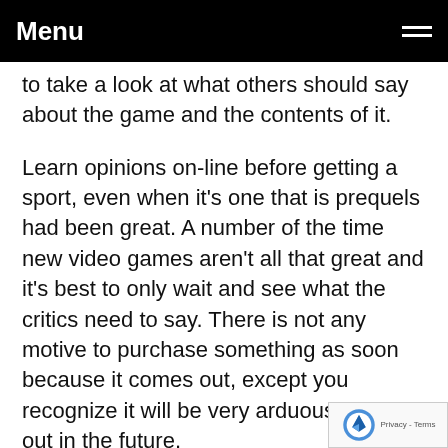Menu
to take a look at what others should say about the game and the contents of it.
Learn opinions on-line before getting a sport, even when it's one that is prequels had been great. A number of the time new video games aren't all that great and it's best to only wait and see what the critics need to say. There is not any motive to purchase something as soon because it comes out, except you recognize it will be very arduous to seek out in the future.
Be especially cautious about guarding your private